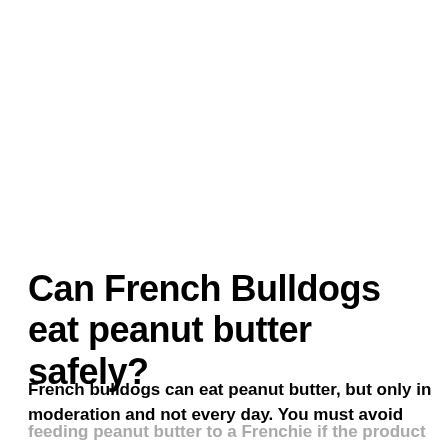Can French Bulldogs eat peanut butter safely?
French bulldogs can eat peanut butter, but only in moderation and not every day. You must avoid feeding peanut butter to a Frenchie if the product contains xylitol as this ingredient is